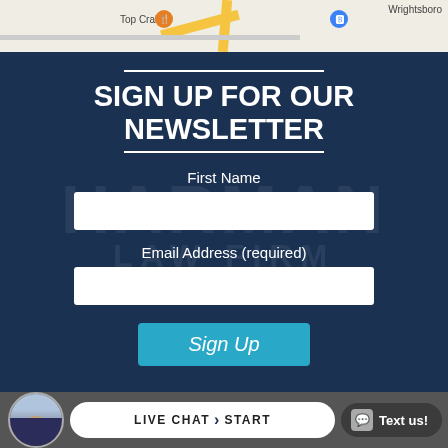[Figure (map): Google Maps strip showing streets near Top Crab restaurant and Wrightsboro area]
SIGN UP FOR OUR NEWSLETTER
First Name
Email Address (required)
Sign Up
LIVE CHAT  >  START
Text us!